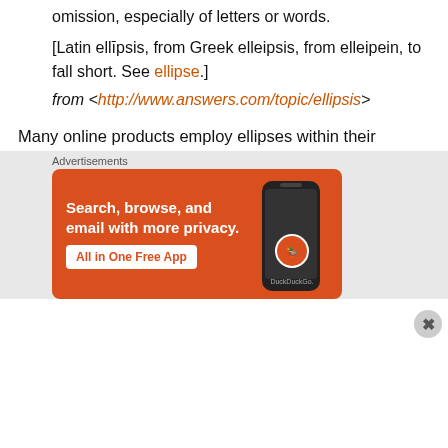omission, especially of letters or words.
[Latin ellīpsis, from Greek elleipsis, from elleipein, to fall short. See ellipse.]
from <http://www.answers.com/topic/ellipsis>
Many online products employ ellipses within their products to improve various aspects of the User Experience, such as:
allowing for easy summary scanning of page content, and
fitting more diversity of content into a smaller space
[Figure (other): DuckDuckGo advertisement banner: Search, browse, and email with more privacy. All in One Free App.]